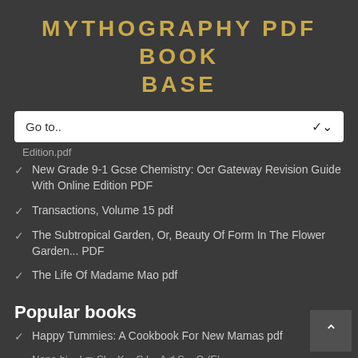MYTHOGRAPHY PDF BOOK BASE
Edition.pdf
New Grade 9-1 Gcse Chemistry: Ocr Gateway Revision Guide With Online Edition PDF
Transactions, Volume 15 pdf
The Subtropical Garden, Or, Beauty Of Form In The Flower Garden... PDF
The Life Of Madame Mao pdf
Popular books
Happy Tummies: A Cookbook For New Mamas pdf